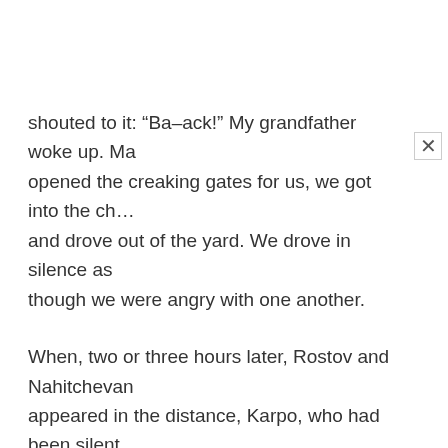shouted to it: “Ba–ack!” My grandfather woke up. Ma opened the creaking gates for us, we got into the ch… and drove out of the yard. We drove in silence as though we were angry with one another.
When, two or three hours later, Rostov and Nahitchevan appeared in the distance, Karpo, who had been silent the whole time, looked round quickly, and said:
“A fine wench, that at the Armenian’s.”
And he lashed his horses. II